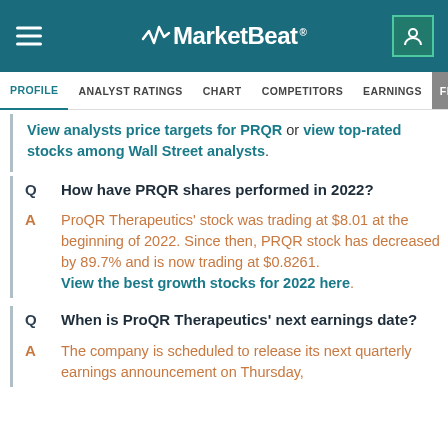MarketBeat
PROFILE  ANALYST RATINGS  CHART  COMPETITORS  EARNINGS  FINANCIAL
View analysts price targets for PRQR or view top-rated stocks among Wall Street analysts.
Q  How have PRQR shares performed in 2022?
A  ProQR Therapeutics' stock was trading at $8.01 at the beginning of 2022. Since then, PRQR stock has decreased by 89.7% and is now trading at $0.8261.
View the best growth stocks for 2022 here.
Q  When is ProQR Therapeutics' next earnings date?
A  The company is scheduled to release its next quarterly earnings announcement on Thursday,